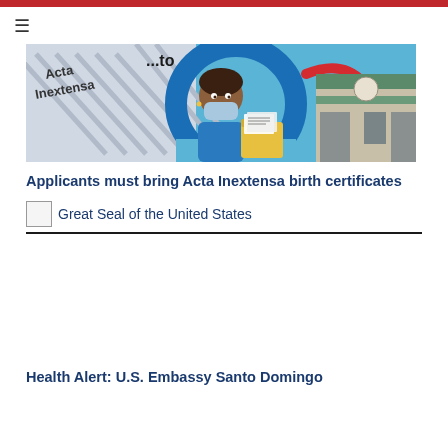[Figure (illustration): Illustration showing a woman wearing a blue face mask holding a yellow folder with documents, beside a large blue circular arrow pointing to a government building. A diagonal striped document labeled 'Acta Inextensa' is visible in the background.]
Applicants must bring Acta Inextensa birth certificates
[Figure (logo): Great Seal of the United States placeholder image with alt text 'Great Seal of the United States']
[Figure (illustration): Empty white space / image placeholder for next article]
Health Alert: U.S. Embassy Santo Domingo